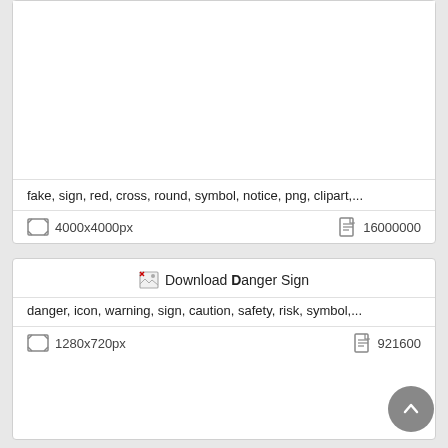[Figure (screenshot): Top card showing a clipart download entry with a large white image area (clipart not loaded), tags text, and metadata showing 4000x4000px resolution and 16000000 file size.]
fake, sign, red, cross, round, symbol, notice, png, clipart,...
4000x4000px
16000000
[Figure (screenshot): Second card showing Download Danger Sign entry with a broken/loading image icon, tags, and metadata showing 1280x720px and 921600.]
Download Danger Sign
danger, icon, warning, sign, caution, safety, risk, symbol,...
1280x720px
921600